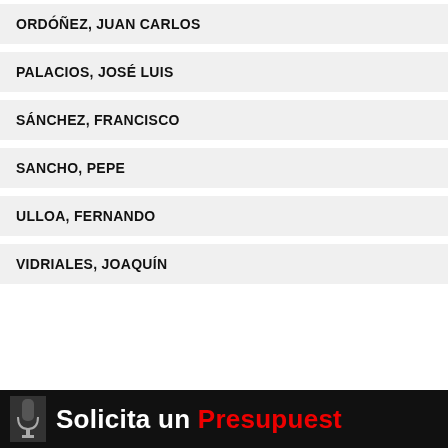ORDÓÑEZ, JUAN CARLOS
PALACIOS, JOSÉ LUIS
SÁNCHEZ, FRANCISCO
SANCHO, PEPE
ULLOA, FERNANDO
VIDRIALES, JOAQUÍN
Total papeles contabilizados en eldoblaje.co
[Figure (photo): Bottom black banner with microphone image and text 'Solicita un Presupuest' in white and red on black background]